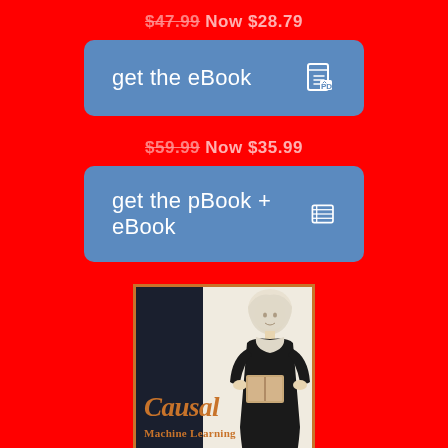$47.99 Now $28.79
get the eBook
$59.99 Now $35.99
get the pBook + eBook
[Figure (illustration): Book cover for 'Causal Machine Learning' from Manning Publications, showing the title in orange italic text on a split dark/white background with a figure of a woman in historical dress holding a book.]